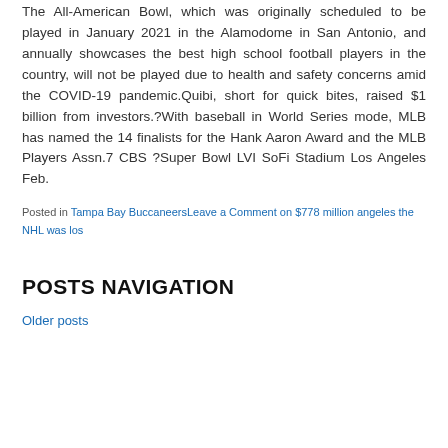The All-American Bowl, which was originally scheduled to be played in January 2021 in the Alamodome in San Antonio, and annually showcases the best high school football players in the country, will not be played due to health and safety concerns amid the COVID-19 pandemic.Quibi, short for quick bites, raised $1 billion from investors.?With baseball in World Series mode, MLB has named the 14 finalists for the Hank Aaron Award and the MLB Players Assn.7 CBS ?Super Bowl LVI SoFi Stadium Los Angeles Feb.
Posted in Tampa Bay BuccaneersLeave a Comment on $778 million angeles the NHL was los
POSTS NAVIGATION
Older posts